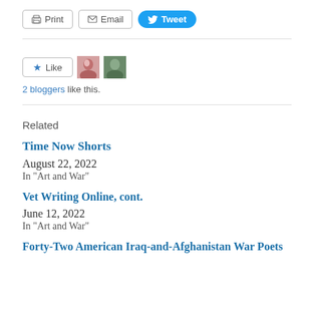[Figure (screenshot): Social sharing buttons: Print, Email, Tweet]
2 bloggers like this.
Related
Time Now Shorts
August 22, 2022
In "Art and War"
Vet Writing Online, cont.
June 12, 2022
In "Art and War"
Forty-Two American Iraq-and-Afghanistan War Poets